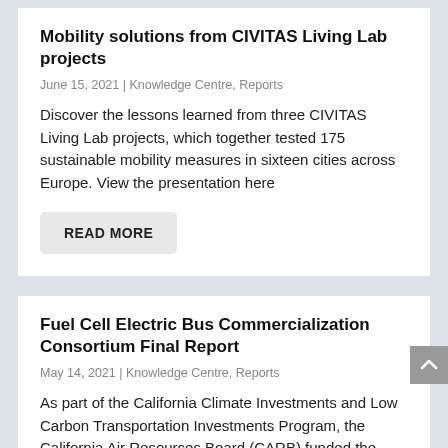Mobility solutions from CIVITAS Living Lab projects
June 15, 2021 | Knowledge Centre, Reports
Discover the lessons learned from three CIVITAS Living Lab projects, which together tested 175 sustainable mobility measures in sixteen cities across Europe. View the presentation here
READ MORE
Fuel Cell Electric Bus Commercialization Consortium Final Report
May 14, 2021 | Knowledge Centre, Reports
As part of the California Climate Investments and Low Carbon Transportation Investments Program, the California Air Resources Board (CARB) funded the Fuel Cell Electric Bus Commercialization Consortium to advance the development...